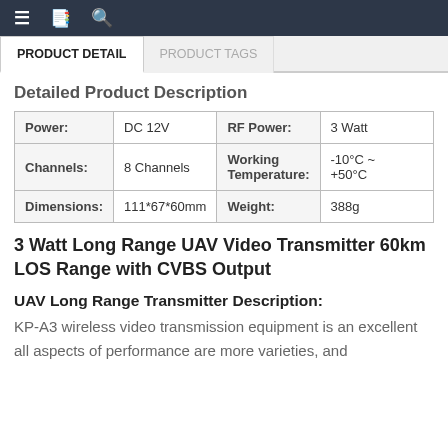≡  📋  🔍
PRODUCT DETAIL | PRODUCT TAGS
Detailed Product Description
| Power: | DC 12V | RF Power: | 3 Watt |
| --- | --- | --- | --- |
| Channels: | 8 Channels | Working Temperature: | -10°C ~ +50°C |
| Dimensions: | 111*67*60mm | Weight: | 388g |
3 Watt Long Range UAV Video Transmitter 60km LOS Range with CVBS Output
UAV Long Range Transmitter Description:
KP-A3 wireless video transmission equipment is an excellent all aspects of performance are more varieties, and